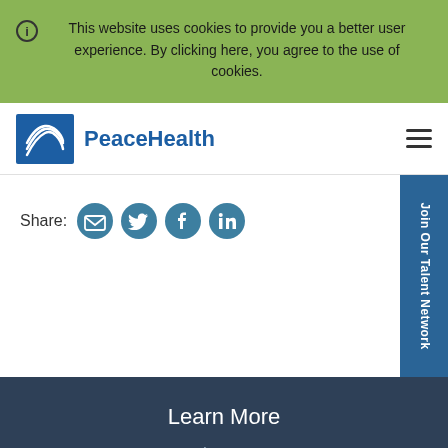This website uses cookies to provide you a better user experience. By clicking here, you agree to the use of cookies.
[Figure (logo): PeaceHealth logo with blue dove icon and blue text]
Share:
[Figure (infographic): Social share icons: email, Twitter, Facebook, LinkedIn]
Join Our Talent Network
Learn More
About Us